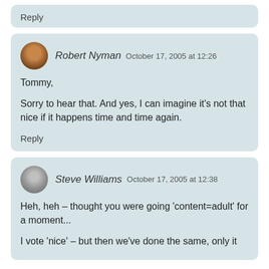Reply
Robert Nyman  October 17, 2005 at 12:26
Tommy,

Sorry to hear that. And yes, I can imagine it's not that nice if it happens time and time again.
Reply
Steve Williams  October 17, 2005 at 12:38
Heh, heh – thought you were going 'content=adult' for a moment...

I vote 'nice' – but then we've done the same, only it